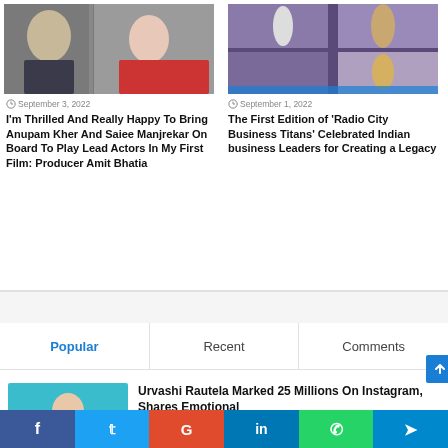[Figure (photo): Photo of two actors, an older man and a woman in red dress]
[Figure (photo): Photo from Radio City Business Titans event showing women in gowns on stage]
September 3, 2022
September 1, 2022
I'm Thrilled And Really Happy To Bring Anupam Kher And Saiee Manjrekar On Board To Play Lead Actors In My First Film: Producer Amit Bhatia
The First Edition of 'Radio City Business Titans' Celebrated Indian business Leaders for Creating a Legacy
Popular
Recent
Comments
[Figure (photo): Photo of Urvashi Rautela with arms raised near water]
Urvashi Rautela Marked 25 Millions On Instagram, Shares Emotional